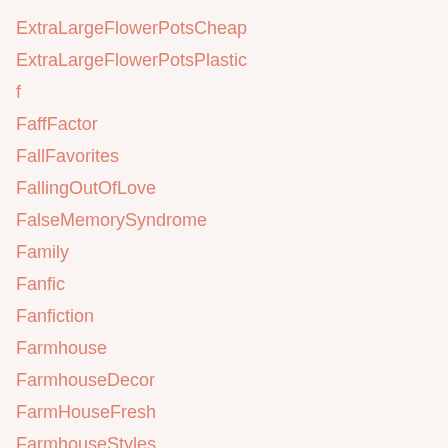ExtraLargeFlowerPotsCheap
ExtraLargeFlowerPotsPlastic
f
FaffFactor
FallFavorites
FallingOutOfLove
FalseMemorySyndrome
Family
Fanfic
Fanfiction
Farmhouse
FarmhouseDecor
FarmHouseFresh
FarmhouseStyles
FARMING